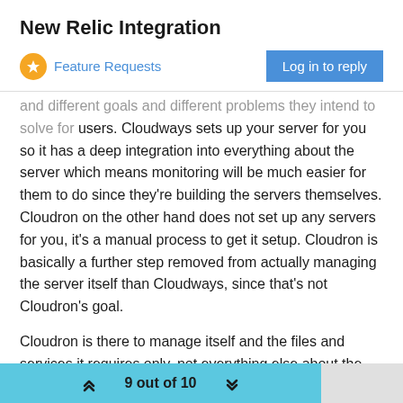New Relic Integration
Feature Requests
Log in to reply
and different goals and different problems they intend to solve for users. Cloudways sets up your server for you so it has a deep integration into everything about the server which means monitoring will be much easier for them to do since they're building the servers themselves. Cloudron on the other hand does not set up any servers for you, it's a manual process to get it setup. Cloudron is basically a further step removed from actually managing the server itself than Cloudways, since that's not Cloudron's goal.
Cloudron is there to manage itself and the files and services it requires only, not everything else about the server. It is not sold as a "managed server" provider. Of course the overlap means there is still a need to monitor things like memory and CPU usage, disk space, etc. and install necessary updates on occasion, but that's about it. Outside of that, Cloudron is really only responsible for itself and what it needs, not the entirety of the server. Conversely,
9 out of 10